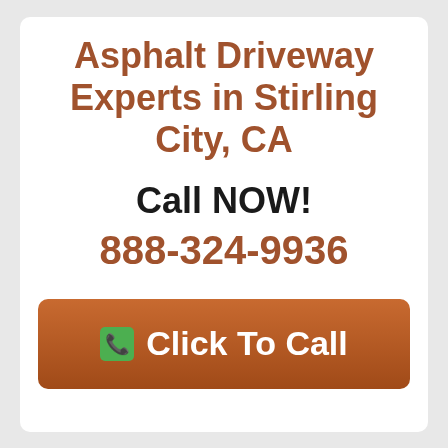Asphalt Driveway Experts in Stirling City, CA
Call NOW!
888-324-9936
Click To Call